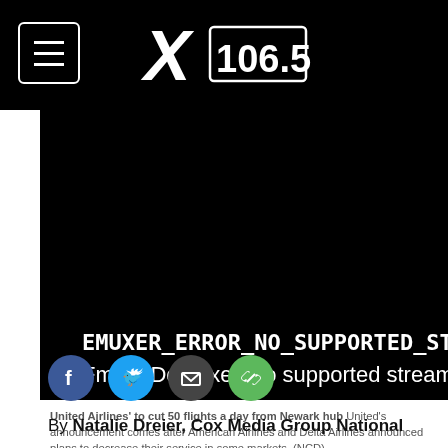X106.5
[Figure (screenshot): Black video player area showing error messages: DEMUXER_ERROR_NO_SUPPORTED_STREAM and FmpegDemuxer: no supported streams]
United Airlines' to cut 50 flights a day from Newark hub United's announcement comes after American Airlines and Delta Airlines announced plans to decrease their service in some markets. (NCD)
[Figure (infographic): Social sharing icons: Facebook (blue), Twitter (blue), Email (dark), Link (green)]
By Natalie Dreier, Cox Media Group National